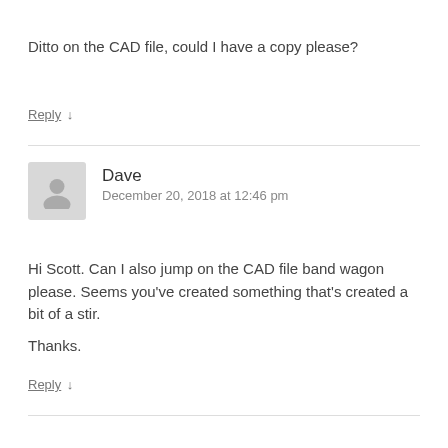Ditto on the CAD file, could I have a copy please?
Reply ↓
Dave
December 20, 2018 at 12:46 pm
Hi Scott. Can I also jump on the CAD file band wagon please. Seems you've created something that's created a bit of a stir.

Thanks.
Reply ↓